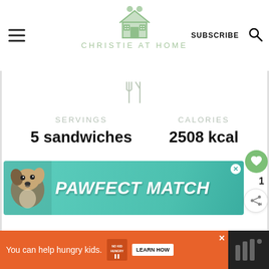CHRISTIE AT HOME
SERVINGS
5 sandwiches
CALORIES
2508 kcal
[Figure (infographic): PAWFECT MATCH advertisement banner with dog image on teal background]
[Figure (infographic): No Kid Hungry orange advertisement bar at bottom: 'You can help hungry kids. LEARN HOW']